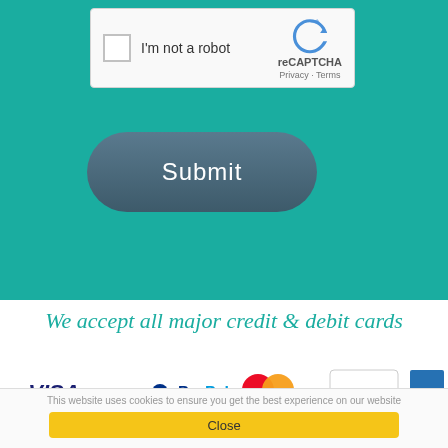[Figure (screenshot): reCAPTCHA widget with checkbox labeled 'I'm not a robot' and reCAPTCHA logo with Privacy and Terms links]
[Figure (screenshot): Submit button — rounded rectangle with dark blue-grey gradient]
We accept all major credit & debit cards
[Figure (infographic): Payment method logos: VISA, PayPal, Mastercard, Discover, American Express]
This website uses cookies to ensure you get the best experience on our website
[Figure (screenshot): Close button for cookie banner — yellow rounded rectangle with text 'Close']